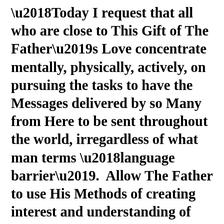Today I request that all who are close to This Gift of The Father's Love concentrate mentally, physically, actively, on pursuing the tasks to have the Messages delivered by so Many from Here to be sent throughout the world, irregardless of what man terms 'language barrier'.  Allow The Father to use His Methods of creating interest and understanding of His Gift that has been given through one voice, to reach those of many tongues, many degrees of intellect.  We continually urge those who are close to This Gift